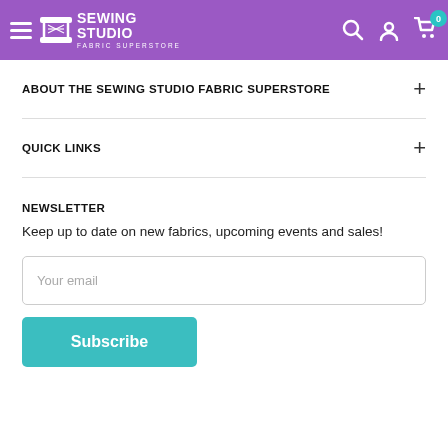Sewing Studio Fabric Superstore — Navigation header with logo, search, account, and cart icons
ABOUT THE SEWING STUDIO FABRIC SUPERSTORE
QUICK LINKS
NEWSLETTER
Keep up to date on new fabrics, upcoming events and sales!
Your email
Subscribe